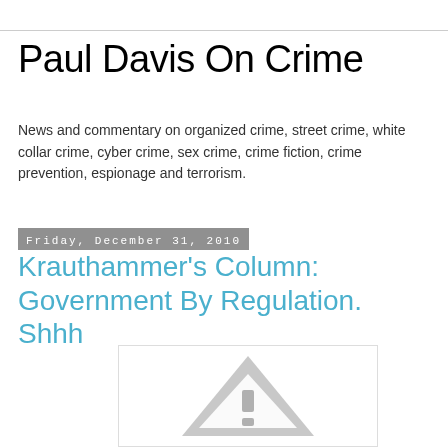Paul Davis On Crime
News and commentary on organized crime, street crime, white collar crime, cyber crime, sex crime, crime fiction, crime prevention, espionage and terrorism.
Friday, December 31, 2010
Krauthammer's Column: Government By Regulation. Shhh
[Figure (illustration): A partially visible warning/caution triangle icon with grey fill and white exclamation mark, cropped at the bottom of the page.]